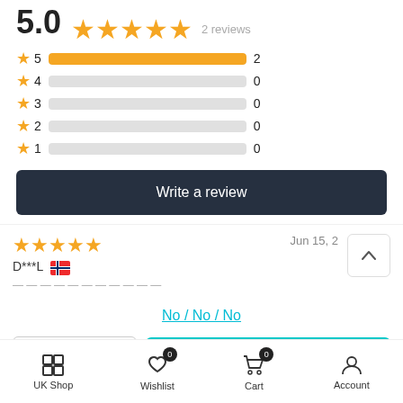[Figure (bar-chart): Star Rating Distribution]
Write a review
[Figure (other): 5-star review by D***L with Norwegian flag, dated Jun 15]
No / No / No
- 1 + ADD TO CART
UK Shop | Wishlist 0 | Cart 0 | Account